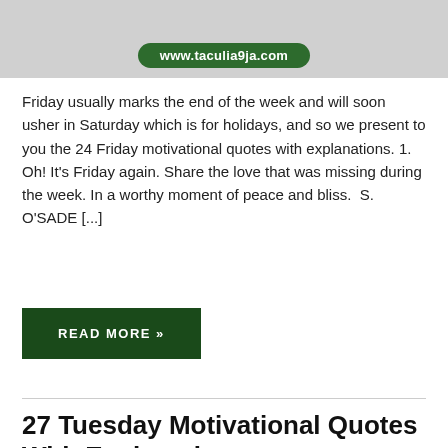[Figure (photo): Top portion of a photo with a green URL badge overlay reading www.taculia9ja.com]
Friday usually marks the end of the week and will soon usher in Saturday which is for holidays, and so we present to you the 24 Friday motivational quotes with explanations. 1. Oh! It’s Friday again. Share the love that was missing during the week. In a worthy moment of peace and bliss.  S. O’SADE [...]
READ MORE »
27 Tuesday Motivational Quotes With Explanations.
No Comments  |  Quote & Captions